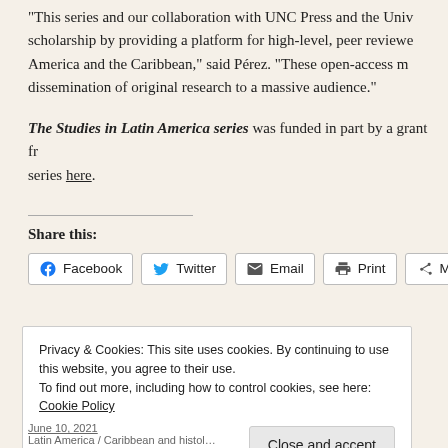“This series and our collaboration with UNC Press and the Univ… scholarship by providing a platform for high-level, peer reviewed… America and the Caribbean,” said Pérez. “These open-access m… dissemination of original research to a massive audience.”
The Studies in Latin America series was funded in part by a grant fr… series here.
Share this:
Facebook  Twitter  Email  Print  More
Privacy & Cookies: This site uses cookies. By continuing to use this website, you agree to their use. To find out more, including how to control cookies, see here: Cookie Policy
June 10, 2021